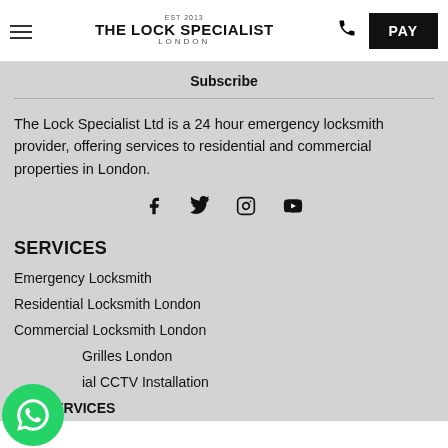THE LOCK SPECIALIST LONDON — EST 2013
Subscribe
The Lock Specialist Ltd is a 24 hour emergency locksmith provider, offering services to residential and commercial properties in London.
[Figure (other): Social media icons row: Facebook, Twitter, Instagram, YouTube]
SERVICES
Emergency Locksmith
Residential Locksmith London
Commercial Locksmith London
Security Grilles London
Commercial CCTV Installation
ALL SERVICES